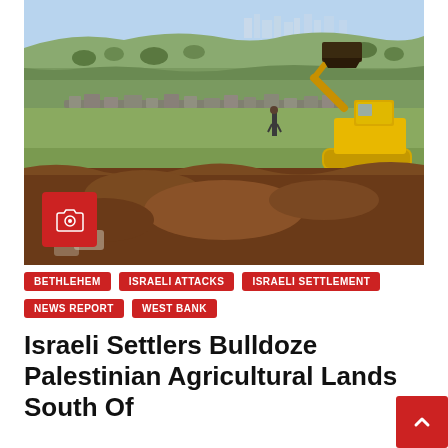[Figure (photo): A yellow bulldozer/excavator working on rocky agricultural land in a hilly area, with a city visible in the background. Piles of red-brown soil are visible in the foreground.]
BETHLEHEM
ISRAELI ATTACKS
ISRAELI SETTLEMENT
NEWS REPORT
WEST BANK
Israeli Settlers Bulldoze Palestinian Agricultural Lands South Of